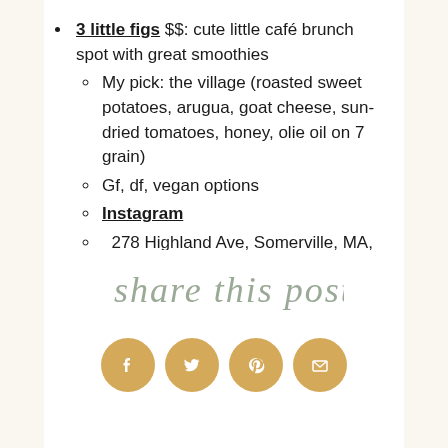3 little figs $$: cute little café brunch spot with great smoothies
My pick: the village (roasted sweet potatoes, arugua, goat cheese, sun-dried tomatoes, honey, olie oil on 7 grain)
Gf, df, vegan options
Instagram
278 Highland Ave, Somerville, MA, 02143
[Figure (illustration): Handwritten script text reading 'share this post' in a cursive/script style, grey color]
[Figure (infographic): Four golden/tan circular social media share buttons: Facebook, Twitter, Pinterest, Email]